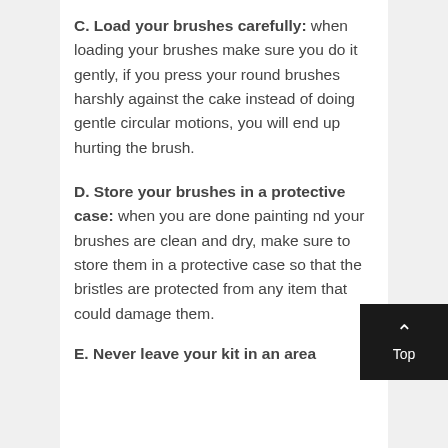C. Load your brushes carefully: when loading your brushes make sure you do it gently, if you press your round brushes harshly against the cake instead of doing gentle circular motions, you will end up hurting the brush.
D. Store your brushes in a protective case: when you are done painting nd your brushes are clean and dry, make sure to store them in a protective case so that the bristles are protected from any item that could damage them.
E. Never leave your kit in an area